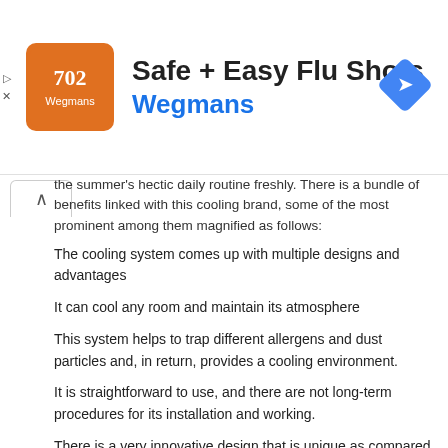[Figure (screenshot): Advertisement banner for Safe + Easy Flu Shots at Wegmans, showing orange logo, title text, and navigation icon]
the summer's hectic daily routine freshly. There is a bundle of benefits linked with this cooling brand, some of the most prominent among them magnified as follows:
The cooling system comes up with multiple designs and advantages
It can cool any room and maintain its atmosphere
This system helps to trap different allergens and dust particles and, in return, provides a cooling environment.
It is straightforward to use, and there are not long-term procedures for its installation and working.
There is a very innovative design that is unique as compared to other traditional cooling systems.
Save your heavy electricity bills and energy power systems